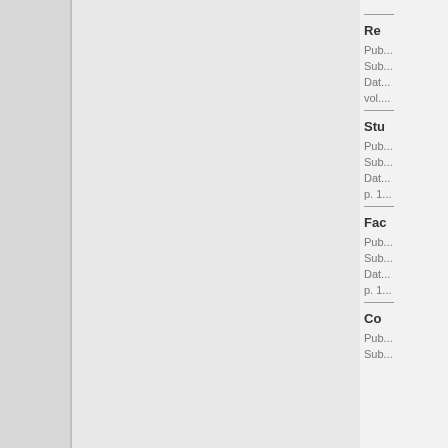Re...
Pub...
Sub...
Dat...
vol....
Stu...
Pub...
Sub...
Dat...
p. 1...
Fac...
Pub...
Sub...
Dat...
p. 1...
Co...
Pub...
Sub...